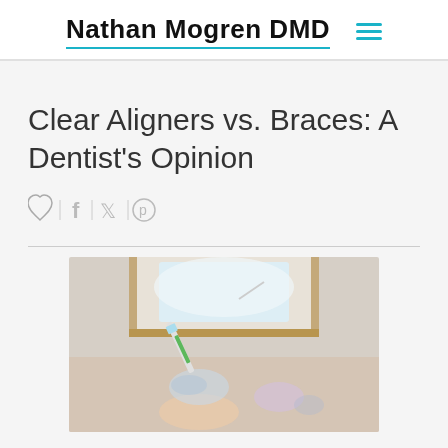Nathan Mogren DMD
Clear Aligners vs. Braces: A Dentist's Opinion
[Figure (other): Social sharing icons: heart/like, Facebook, Twitter, Pinterest]
[Figure (photo): Close-up photo of a person holding a dental syringe and clear dental aligner/retainer in their hand, with a blurred window and room background]